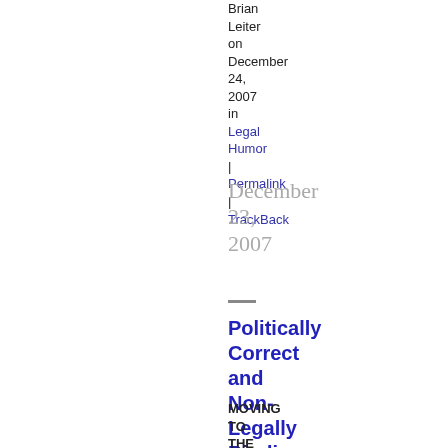Brian Leiter on December 24, 2007 in Legal Humor | Permalink | TrackBack
December 23, 2007
Politically Correct and Non-Legally Binding Holiday Wishes
MOVING TO THE FRONT